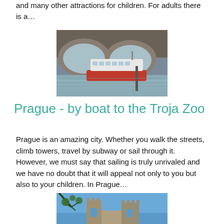and many other attractions for children. For adults there is a…
[Figure (photo): A white and red passenger boat sailing under a stone arch bridge on a river in Prague]
Prague - by boat to the Troja Zoo
Prague is an amazing city. Whether you walk the streets, climb towers, travel by subway or sail through it. However, we must say that sailing is truly unrivaled and we have no doubt that it will appeal not only to you but also to your children. In Prague…
[Figure (photo): A stone castle ruin against a blue sky with tree branches in the foreground]